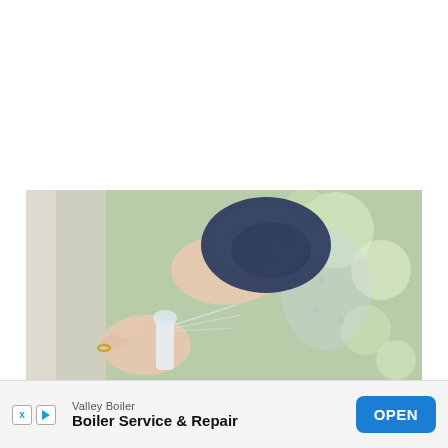[Figure (photo): A person cleaning a window with a dark blue cloth and a spray bottle. Bokeh green background visible through the glass.]
Valley Boiler
Boiler Service & Repair
OPEN